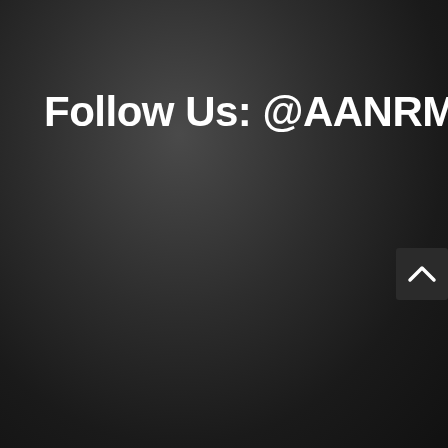Follow Us: @AANRMW
[Figure (other): Back-to-top button with upward chevron arrow, dark background, positioned at bottom right edge of page]